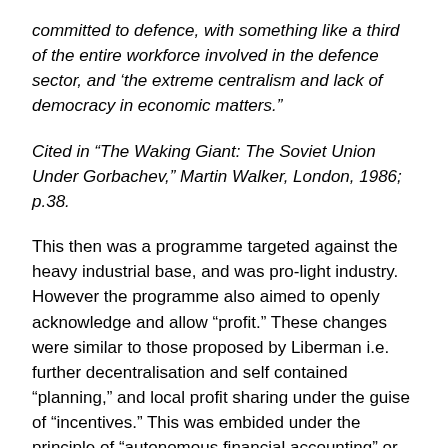committed to defence, with something like a third of the entire workforce involved in the defence sector, and ‘the extreme centralism and lack of democracy in economic matters.”
Cited in “The Waking Giant: The Soviet Union Under Gorbachev,” Martin Walker, London, 1986; p.38.
This then was a programme targeted against the heavy industrial base, and was pro-light industry. However the programme also aimed to openly acknowledge and allow “profit.” These changes were similar to those proposed by Liberman i.e. further decentralisation and self contained “planning,” and local profit sharing under the guise of “incentives.” This was embided under the principle of “autonomous financial accounting” or Khozraschet.